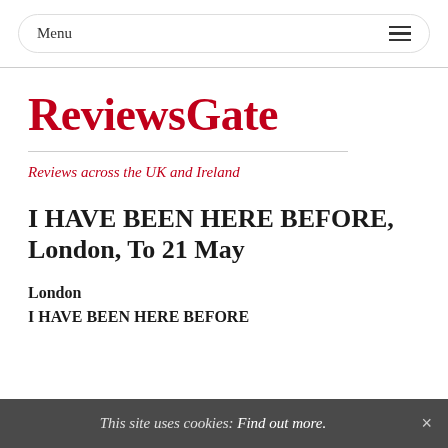Menu ☰
ReviewsGate
Reviews across the UK and Ireland
I HAVE BEEN HERE BEFORE, London, To 21 May
London
I HAVE BEEN HERE BEFORE
This site uses cookies: Find out more. ×